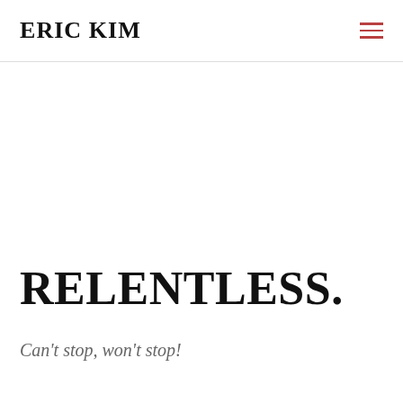ERIC KIM
RELENTLESS.
Can't stop, won't stop!